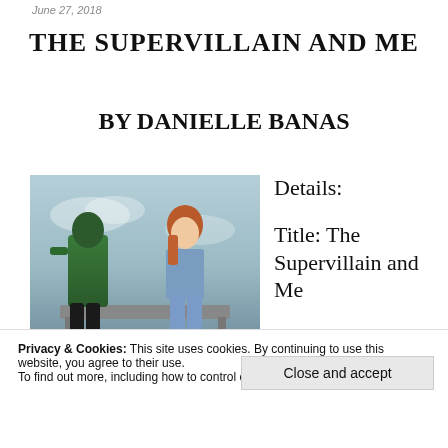June 27, 2018
THE SUPERVILLAIN AND ME
BY DANIELLE BANAS
Details:
[Figure (photo): Book cover of 'The Supervillain and Me' by Danielle Banas showing a person in a green superhero costume and a girl sitting side by side on a ledge, with a cloudy sky background. Bottom bar shows author name 'DANIELLE BANAS'.]
Title: The Supervillain and Me
Privacy & Cookies: This site uses cookies. By continuing to use this website, you agree to their use.
To find out more, including how to control cookies, see here: Cookie Policy
Close and accept